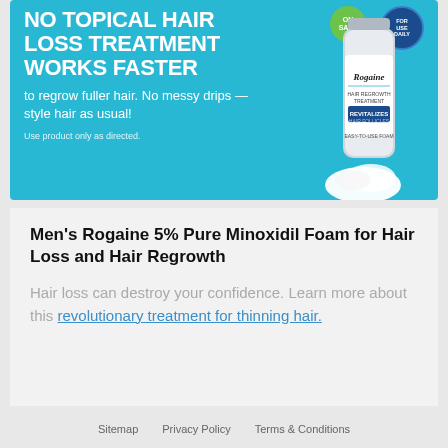[Figure (illustration): Rogaine advertisement banner with cyan/teal background. Left side shows bold white text headline 'NO TOPICAL HAIR LOSS TREATMENT WORKS FASTER' with subtext about regrowing fuller hair and no messy drips. Right side shows Rogaine Men's 5% minoxidil foam product can. Green circular badge and blue circular badge visible in upper right.]
Men's Rogaine 5% Pure Minoxidil Foam for Hair Loss and Hair Regrowth
Hair loss can destroy your confidence. Learn more about this revolutionary treatment for thinning hair.
Sitemap   Privacy Policy   Terms & Conditions